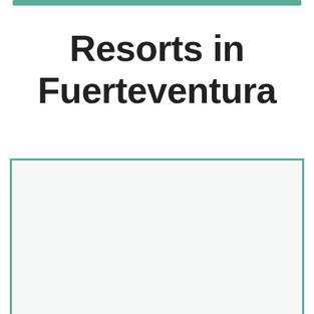Resorts in Fuerteventura
[Figure (other): A content box with teal border at top, left, and right sides on a light gray background, extending to bottom of page]